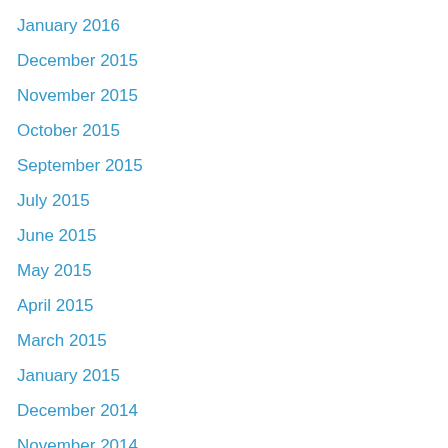January 2016
December 2015
November 2015
October 2015
September 2015
July 2015
June 2015
May 2015
April 2015
March 2015
January 2015
December 2014
November 2014
October 2014
September 2014
August 2014
July 2014
June 2014
May 2014
April 2014